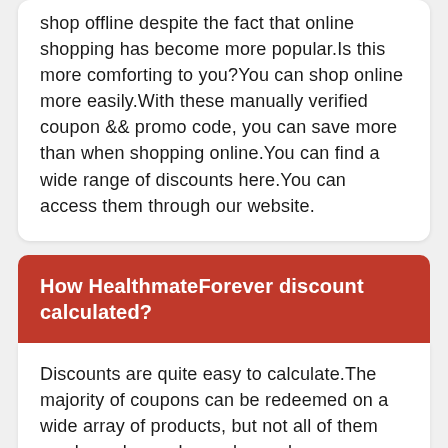shop offline despite the fact that online shopping has become more popular.Is this more comforting to you?You can shop online more easily.With these manually verified coupon && promo code, you can save more than when shopping online.You can find a wide range of discounts here.You can access them through our website.
How HealthmateForever discount calculated?
Discounts are quite easy to calculate.The majority of coupons can be redeemed on a wide array of products, but not all of them can be redeemed on sales and clearance.You pay 100, if you use 20% of the coupons, you pay 80.Using a 20% discount on $100 plus a 20% coupon, the final price is 64 with the 20% discount.